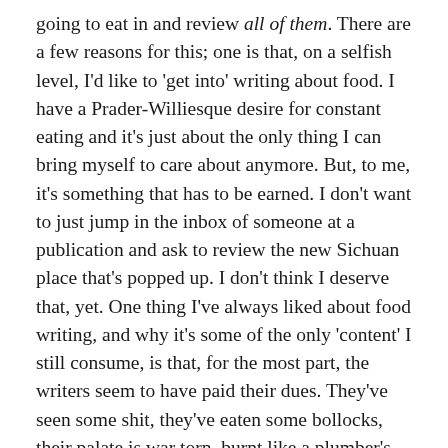going to eat in and review all of them. There are a few reasons for this; one is that, on a selfish level, I'd like to 'get into' writing about food. I have a Prader-Williesque desire for constant eating and it's just about the only thing I can bring myself to care about anymore. But, to me, it's something that has to be earned. I don't want to just jump in the inbox of someone at a publication and ask to review the new Sichuan place that's popped up. I don't think I deserve that, yet. One thing I've always liked about food writing, and why it's some of the only 'content' I still consume, is that, for the most part, the writers seem to have paid their dues. They've seen some shit, they've eaten some bollocks, their palate is war torn, burnt like a plumber's palm from fresh Hirata buns. I want, for once in my life, to do something the hard way.
It's also about familiarising myself with somewhere